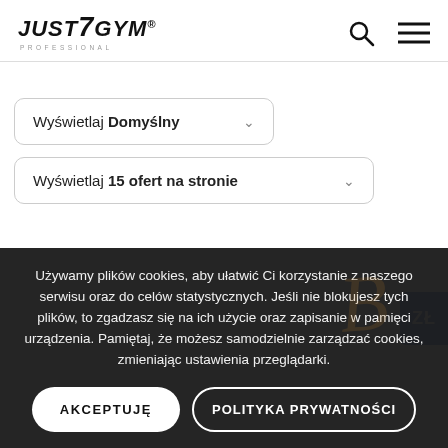[Figure (logo): JUST7GYM Professional logo with stylized text and registered trademark symbol]
Wyświetlaj Domyślny
Wyświetlaj 15 ofert na stronie
ZŁ
Używamy plików cookies, aby ułatwić Ci korzystanie z naszego serwisu oraz do celów statystycznych. Jeśli nie blokujesz tych plików, to zgadzasz się na ich użycie oraz zapisanie w pamięci urządzenia. Pamiętaj, że możesz samodzielnie zarządzać cookies, zmieniając ustawienia przeglądarki.
AKCEPTUJĘ
POLITYKA PRYWATNOŚCI